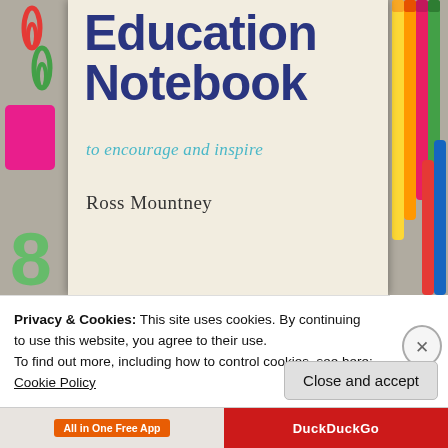[Figure (photo): Book cover of 'Education Notebook to encourage and inspire' by Ross Mountney. A notebook-style cover with cream/beige center panel showing the title in dark blue bold text, subtitle in teal italic handwriting style, and author name in serif font. Surrounded by colorful school supplies: paperclips, markers/pens, pink eraser, green number 8, on a gray background.]
Privacy & Cookies: This site uses cookies. By continuing to use this website, you agree to their use.
To find out more, including how to control cookies, see here: Cookie Policy
Close and accept
All in One Free App | DuckDuckGo